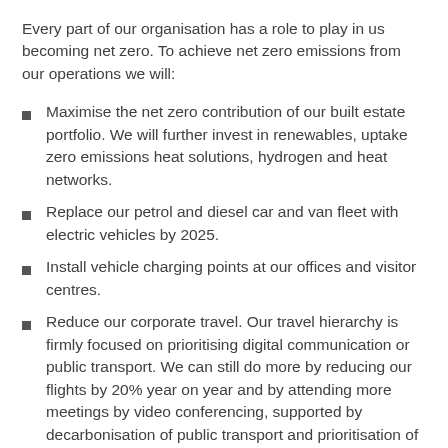Every part of our organisation has a role to play in us becoming net zero. To achieve net zero emissions from our operations we will:
Maximise the net zero contribution of our built estate portfolio. We will further invest in renewables, uptake zero emissions heat solutions, hydrogen and heat networks.
Replace our petrol and diesel car and van fleet with electric vehicles by 2025.
Install vehicle charging points at our offices and visitor centres.
Reduce our corporate travel. Our travel hierarchy is firmly focused on prioritising digital communication or public transport. We can still do more by reducing our flights by 20% year on year and by attending more meetings by video conferencing, supported by decarbonisation of public transport and prioritisation of active travel.